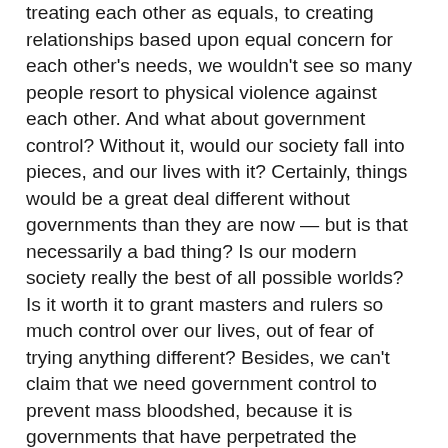treating each other as equals, to creating relationships based upon equal concern for each other's needs, we wouldn't see so many people resort to physical violence against each other. And what about government control? Without it, would our society fall into pieces, and our lives with it? Certainly, things would be a great deal different without governments than they are now — but is that necessarily a bad thing? Is our modern society really the best of all possible worlds? Is it worth it to grant masters and rulers so much control over our lives, out of fear of trying anything different? Besides, we can't claim that we need government control to prevent mass bloodshed, because it is governments that have perpetrated the greatest slaughters of all: in wars, in holocausts, in the centrally organized enslaving and obliteration of entire peoples and